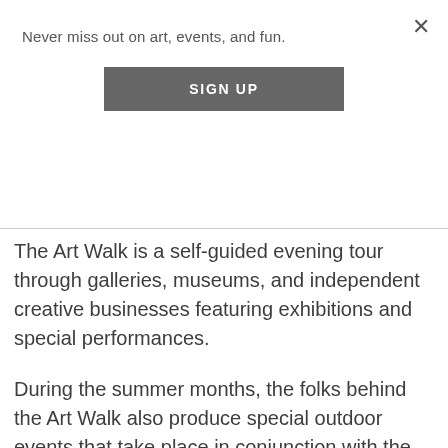Never miss out on art, events, and fun.
[Figure (other): SIGN UP button — dark grey rectangular button with white bold text]
The Art Walk is a self-guided evening tour through galleries, museums, and independent creative businesses featuring exhibitions and special performances.
During the summer months, the folks behind the Art Walk also produce special outdoor events that take place in conjunction with the walk: SubZERO Festival (June) and Street Mrkts (August & September). These events are an